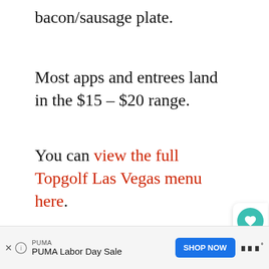bacon/sausage plate.
Most apps and entrees land in the $15 – $20 range.
You can view the full Topgolf Las Vegas menu here.
In addition to food, Topgolf serves an impressive selection of beers, seltzers, and cocktails. Notably, beer is served in pitcher, or beer tower form. If you're not opting for the tower, are you really doing
[Figure (screenshot): Social share sidebar widget with heart/like button showing count 17 and share icon]
[Figure (screenshot): What's Next promo card showing Bottomless Mimosas in...]
[Figure (screenshot): PUMA Labor Day Sale advertisement bar with Shop Now button and Tidal logo]